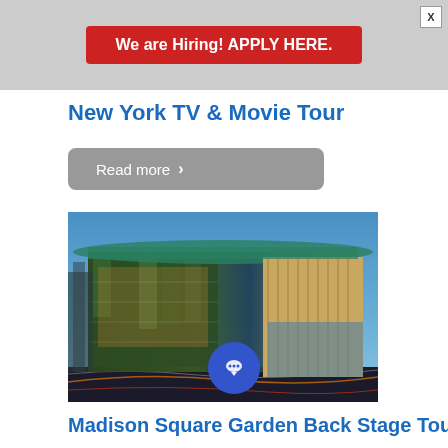[Figure (other): Banner advertisement with red button saying 'We are Hiring! APPLY HERE.' on gray background with X close button]
New York TV & Movie Tour
Read more >
[Figure (photo): Nighttime exterior photo of Madison Square Garden building with illuminated glass facade and circular architecture against blue sky]
Madison Square Garden Back Stage Tour